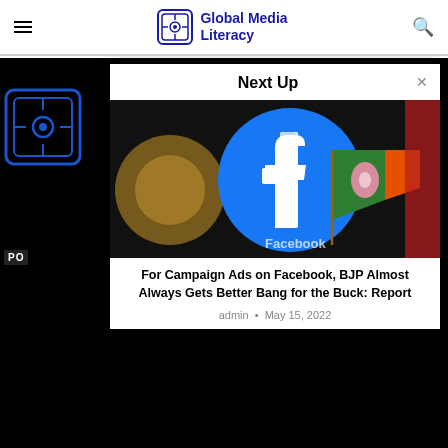Global Media Literacy
[Figure (screenshot): Global Media Literacy website screenshot showing a 'Next Up' modal overlay with a Facebook and BJP flag image and article title 'For Campaign Ads on Facebook, BJP Almost Always Gets Better Bang for the Buck: Report' by admin on May 15, 2022]
For Campaign Ads on Facebook, BJP Almost Always Gets Better Bang for the Buck: Report
admin • May 15, 2022